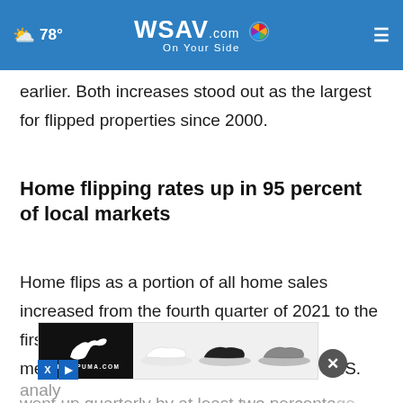78° WSAV.com On Your Side
earlier. Both increases stood out as the largest for flipped properties since 2000.
Home flipping rates up in 95 percent of local markets
Home flips as a portion of all home sales increased from the fourth quarter of 2021 to the first quarter of 2022 in 181 of the 191 metropolitan statistical areas around the U.S. analyzed… went up quarterly by at least two percentage
[Figure (screenshot): Puma advertisement banner with Puma logo on black background and three pairs of shoes on white/gray background, with close button overlay]